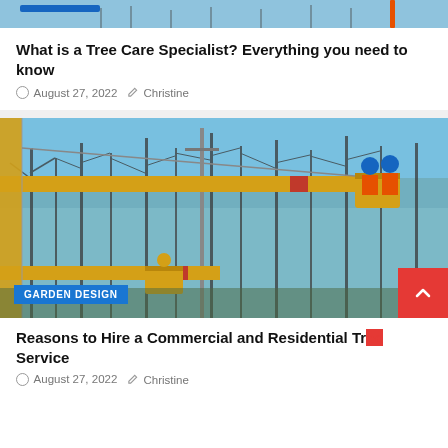[Figure (photo): Partial top strip of a photo showing blue sky and bare trees with blue scaffold/equipment bar visible]
What is a Tree Care Specialist? Everything you need to know
August 27, 2022   Christine
[Figure (photo): Workers in a yellow cherry picker / bucket truck crane trimming tall bare trees against a blue sky. A yellow boom arm extends across the image. A blue 'GARDEN DESIGN' badge overlays the bottom left. A red back-to-top button appears at bottom right.]
GARDEN DESIGN
Reasons to Hire a Commercial and Residential Tree Service
August 27, 2022   Christine